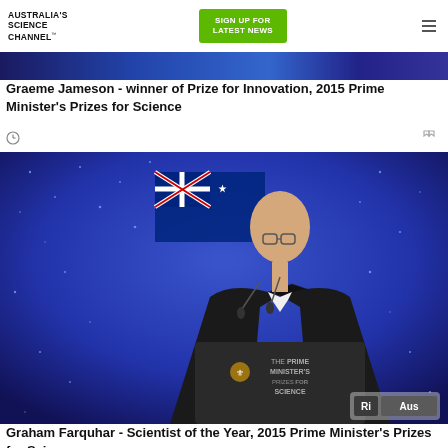AUSTRALIA'S SCIENCE CHANNEL™
[Figure (other): Green button: SIGN UP FOR LATEST NEWS]
[Figure (photo): Partial photo of a person at an event, bottom strip of first video thumbnail (blue/dark background)]
Graeme Jameson - winner of Prize for Innovation, 2015 Prime Minister's Prizes for Science
[Figure (photo): Graham Farquhar in formal wear speaking at a podium labeled 'THE PRIME MINISTER'S PRIZES FOR SCIENCE' with Australian flag and blue sparkly background. Ri Aus logo in bottom right.]
Graham Farquhar - Scientist of the Year, 2015 Prime Minister's Prizes for Science